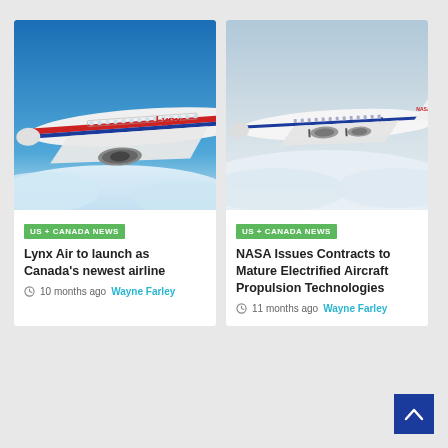[Figure (photo): Lynx Air commercial airplane in flight above clouds with blue sky, red and blue livery with Lynx branding]
US + CANADA NEWS
Lynx Air to launch as Canada's newest airline
10 months ago  Wayne Farley
[Figure (photo): NASA electrified aircraft propulsion concept plane in flight, white with blue accent and NASA logo on tail]
US + CANADA NEWS
NASA Issues Contracts to Mature Electrified Aircraft Propulsion Technologies
11 months ago  Wayne Farley